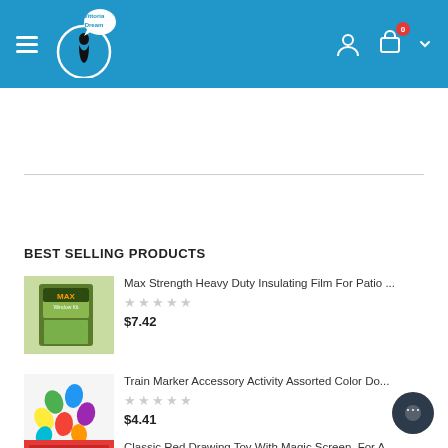[Figure (screenshot): E-commerce website header with blue background, hamburger menu, Vittoria Dream logo, user icon, cart icon with 0 badge, and dropdown arrow]
BEST SELLING PRODUCTS
[Figure (photo): Max Strength Heavy Duty Insulating Film For Patio product thumbnail]
Max Strength Heavy Duty Insulating Film For Patio ...
$7.42
[Figure (photo): Train Marker Accessory Activity Assorted Color Do product thumbnail - colorful marker caps]
Train Marker Accessory Activity Assorted Color Do...
$4.41
[Figure (photo): Classic Red Drawing Toy With Magic Screen product thumbnail]
Classic Red Drawing Toy With Magic Screen, For A...